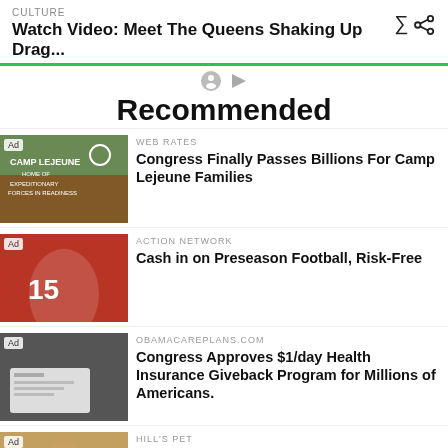CULTURE
Watch Video: Meet The Queens Shaking Up Drag...
Recommended
WEB RATES
Congress Finally Passes Billions For Camp Lejeune Families
ACTION NETWORK
Cash in on Preseason Football, Risk-Free
OBAMACAREPLANS.COM
Congress Approves $1/day Health Insurance Giveback Program for Millions of Americans.
HILL'S PET
Here's an easy way to silence your dog's stomach...